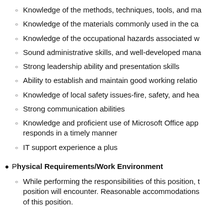Knowledge of the methods, techniques, tools, and ma
Knowledge of the materials commonly used in the ca
Knowledge of the occupational hazards associated w
Sound administrative skills, and well-developed mana
Strong leadership ability and presentation skills
Ability to establish and maintain good working relatio
Knowledge of local safety issues-fire, safety, and hea
Strong communication abilities
Knowledge and proficient use of Microsoft Office app responds in a timely manner
IT support experience a plus
Physical Requirements/Work Environment
While performing the responsibilities of this position, t position will encounter. Reasonable accommodations of this position.